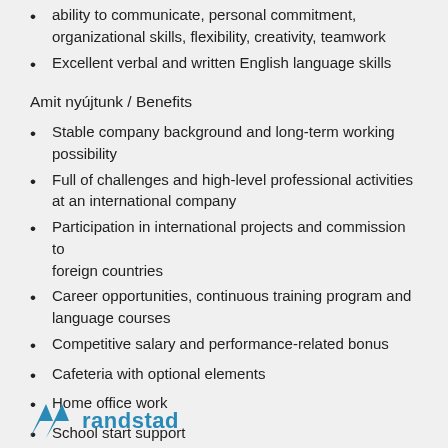ability to communicate, personal commitment, organizational skills, flexibility, creativity, teamwork
Excellent verbal and written English language skills
Amit nyújtunk / Benefits
Stable company background and long-term working possibility
Full of challenges and high-level professional activities at an international company
Participation in international projects and commission to foreign countries
Career opportunities, continuous training program and language courses
Competitive salary and performance-related bonus
Cafeteria with optional elements
Home office work
School start support
[Figure (logo): Randstad company logo with stylized blue arrow/chevron icon and 'randstad' text in blue]